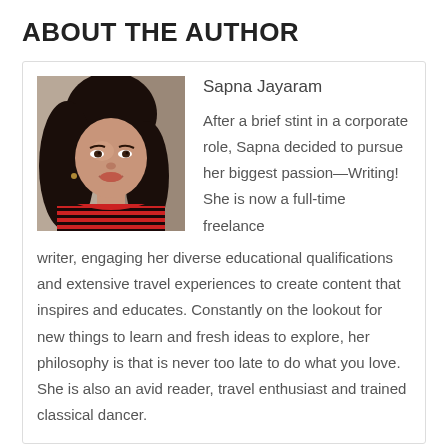ABOUT THE AUTHOR
[Figure (photo): Headshot photo of Sapna Jayaram, a woman with long dark hair wearing a red and black striped top, smiling at the camera.]
Sapna Jayaram
After a brief stint in a corporate role, Sapna decided to pursue her biggest passion—Writing! She is now a full-time freelance writer, engaging her diverse educational qualifications and extensive travel experiences to create content that inspires and educates. Constantly on the lookout for new things to learn and fresh ideas to explore, her philosophy is that is never too late to do what you love. She is also an avid reader, travel enthusiast and trained classical dancer.